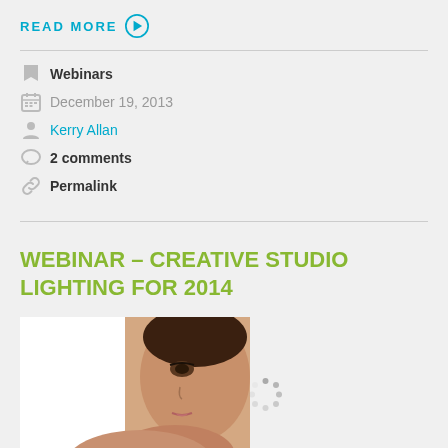READ MORE →
Webinars
December 19, 2013
Kerry Allan
2 comments
Permalink
WEBINAR – CREATIVE STUDIO LIGHTING FOR 2014
[Figure (photo): Close-up portrait of a woman with her hand near her face, professional studio photo with white and soft background. A loading spinner icon is partially visible to the right of the photo.]